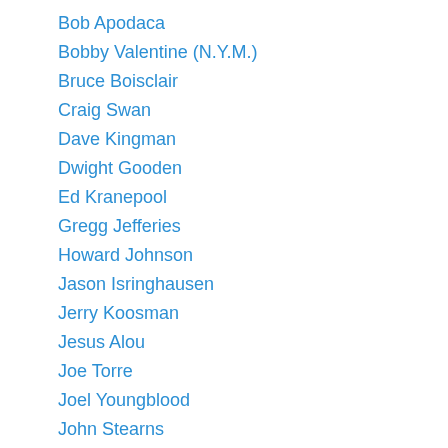Bob Apodaca
Bobby Valentine (N.Y.M.)
Bruce Boisclair
Craig Swan
Dave Kingman
Dwight Gooden
Ed Kranepool
Gregg Jefferies
Howard Johnson
Jason Isringhausen
Jerry Koosman
Jesus Alou
Joe Torre
Joel Youngblood
John Stearns
Lee Mazzilli
Len Randle
Leo Foster
Mike Vail
Ron Darling